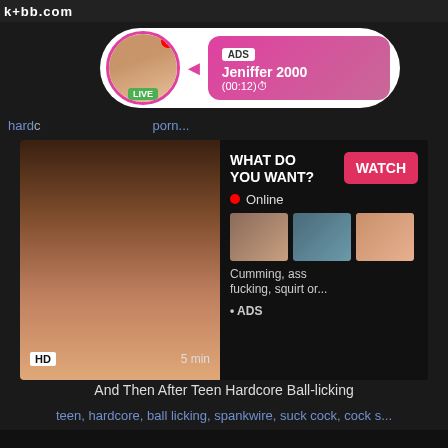k+bb.com
[Figure (screenshot): Ad popup overlay with live avatar and pink gradient box showing ADS label, name Jeniffer 2000, time (00:12)]
hard... ...porn...
[Figure (screenshot): Video thumbnail with ad overlay: WHAT DO YOU WANT? WATCH button, Online indicator, three mini thumbnails, text Cumming, ass fucking, squirt or... ADS]
HD    5 min
And Then After Teen Hardcore Ball-licking
teen, hardcore, ball licking, spankwire, suck cock, cock s...